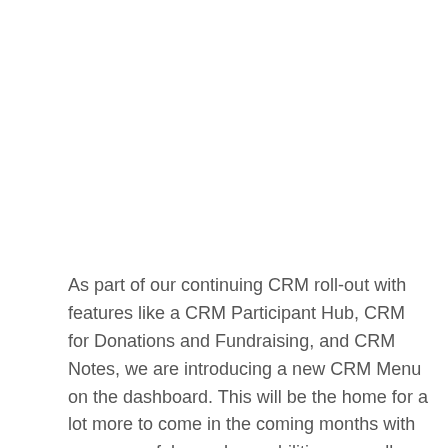As part of our continuing CRM roll-out with features like a CRM Participant Hub, CRM for Donations and Fundraising, and CRM Notes, we are introducing a new CRM Menu on the dashboard. This will be the home for a lot more to come in the coming months with very powerful search capabilities, as well a the [...]